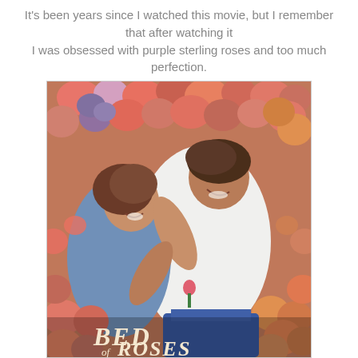It's been years since I watched this movie, but I remember that after watching it I was obsessed with purple sterling roses and too much perfection.
[Figure (photo): Movie poster for 'Bed of Roses' showing a man and woman lying in a bed of colorful flowers, smiling and embracing. The woman wears a blue dress and the man wears a white t-shirt and jeans, holding a small rose. The title 'Bed of Roses' is displayed at the bottom in elegant script lettering.]